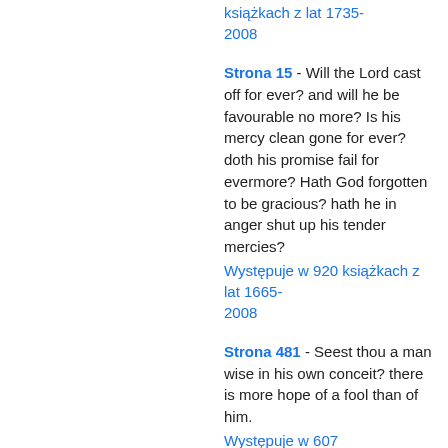książkach z lat 1735-2008
Strona 15 - Will the Lord cast off for ever? and will he be favourable no more? Is his mercy clean gone for ever? doth his promise fail for evermore? Hath God forgotten to be gracious? hath he in anger shut up his tender mercies?
Występuje w 920 książkach z lat 1665-2008
Strona 481 - Seest thou a man wise in his own conceit? there is more hope of a fool than of him.
Występuje w 607